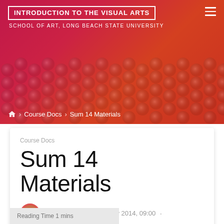INTRODUCTION TO THE VISUAL ARTS
SCHOOL OF ART, LONG BEACH STATE UNIVERSITY
⌂ › Course Docs › Sum 14 Materials
Course Docs
Sum 14 Materials
Glenn Zucman · 23 May 2014, 09:00 ·
Leave a comment
Reading Time 1 mins